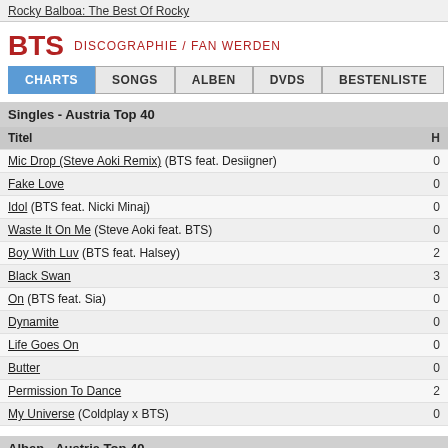Rocky Balboa: The Best Of Rocky
BTS  DISCOGRAPHIE / FAN WERDEN
CHARTS | SONGS | ALBEN | DVDS | BESTENLISTE
Singles - Austria Top 40
| Titel |  |
| --- | --- |
| Mic Drop (Steve Aoki Remix) (BTS feat. Desiigner) | 0 |
| Fake Love | 0 |
| Idol (BTS feat. Nicki Minaj) | 0 |
| Waste It On Me (Steve Aoki feat. BTS) | 0 |
| Boy With Luv (BTS feat. Halsey) | 2 |
| Black Swan | 3 |
| On (BTS feat. Sia) | 0 |
| Dynamite | 0 |
| Life Goes On | 0 |
| Butter | 0 |
| Permission To Dance | 2 |
| My Universe (Coldplay x BTS) | 0 |
Alben - Austria Top 40
| Titel |  |
| --- | --- |
| Love Yourself ❤ 'Her' | 2 |
| Face Yourself | 1 |
| Love Yourself ❤ 'Tear' | 0 |
| Love Yourself ❤ 'Answer' | 0 |
| Map Of The Soul - Persona | 2 |